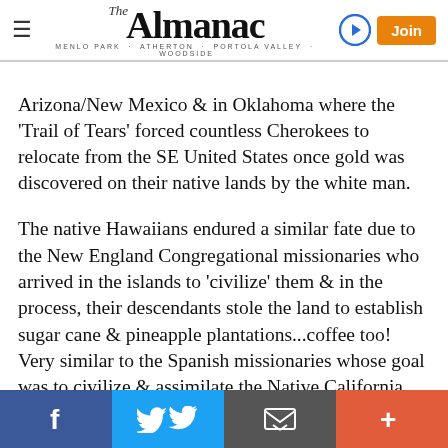The Almanac — MENLO PARK · ATHERTON · PORTOLA VALLEY · WOODSIDE
Arizona/New Mexico & in Oklahoma where the 'Trail of Tears' forced countless Cherokees to relocate from the SE United States once gold was discovered on their native lands by the white man.
The native Hawaiians endured a similar fate due to the New England Congregational missionaries who arrived in the islands to 'civilize' them & in the process, their descendants stole the land to establish sugar cane & pineapple plantations...coffee too! Very similar to the Spanish missionaries whose goal was to civilize & assimilate the Native California Indians to the ways of the Inquisition.
Jack Lord of Hawaii 5-0 fame used to live in Kahala (an exclusive…
Social share bar: Facebook, Twitter, Email, More